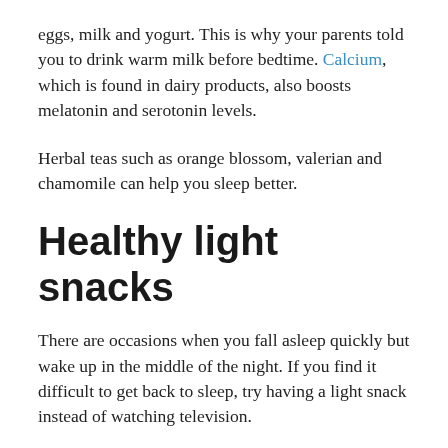eggs, milk and yogurt. This is why your parents told you to drink warm milk before bedtime. Calcium, which is found in dairy products, also boosts melatonin and serotonin levels.
Herbal teas such as orange blossom, valerian and chamomile can help you sleep better.
Healthy light snacks
There are occasions when you fall asleep quickly but wake up in the middle of the night. If you find it difficult to get back to sleep, try having a light snack instead of watching television.
A snack comprising complex carbohydrates such as a small chicken sandwich, a small bowl of oatmeal or